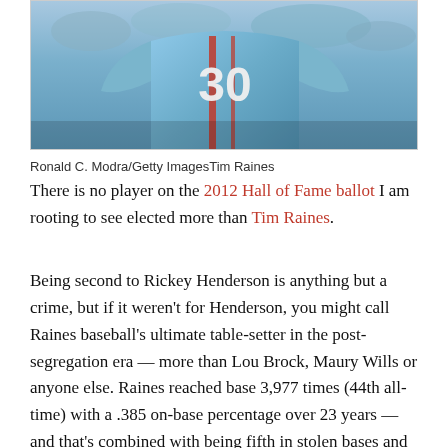[Figure (photo): Action photo of Tim Raines in a blue baseball jersey with number 30]
Ronald C. Modra/Getty ImagesTim Raines
There is no player on the 2012 Hall of Fame ballot I am rooting to see elected more than Tim Raines.
Being second to Rickey Henderson is anything but a crime, but if it weren't for Henderson, you might call Raines baseball's ultimate table-setter in the post-segregation era — more than Lou Brock, Maury Wills or anyone else. Raines reached base 3,977 times (44th all-time) with a .385 on-base percentage over 23 years — and that's combined with being fifth in stolen bases and second in stolen-base percentage.